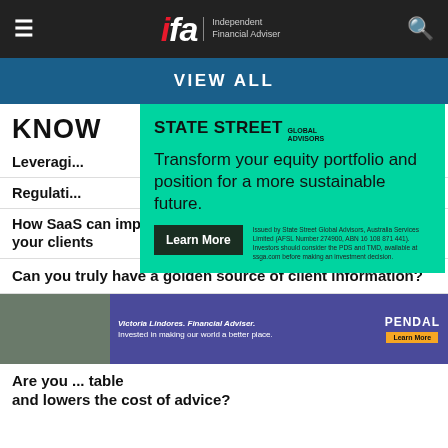ifa Independent Financial Adviser
VIEW ALL
KNOW
Leveragi...
Regulati...
[Figure (advertisement): State Street Global Advisors green banner ad: 'Transform your equity portfolio and position for a more sustainable future.' with Learn More button and disclaimer text. Issued by State Street Global Advisors, Australia Services Limited (AFSL Number 274900, ABN 16 108 671 441). Investors should consider the PDS and TMD, available at ssga.com before making an investment decision.]
How SaaS can improve your insights and reduce cost for your clients
Can you truly have a golden source of client information?
[Figure (advertisement): Pendal advertisement banner: 'Victoria Lindores. Financial Adviser. Invested in making our world a better place.' with Learn More button and Pendal logo.]
Are you ... table and lowers the cost of advice?